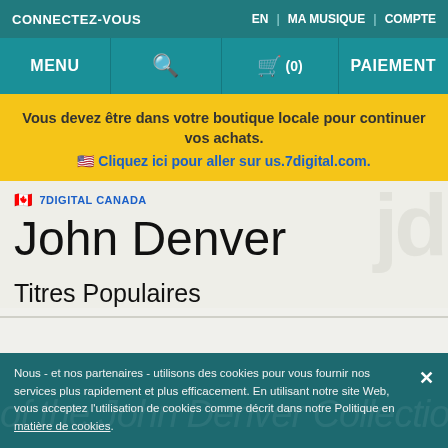CONNECTEZ-VOUS | EN | MA MUSIQUE | COMPTE
MENU | (search) | (0) | PAIEMENT
Vous devez être dans votre boutique locale pour continuer vos achats. 🇺🇸 Cliquez ici pour aller sur us.7digital.com.
🇨🇦 7DIGITAL CANADA
John Denver
Titres Populaires
Nous - et nos partenaires - utilisons des cookies pour vous fournir nos services plus rapidement et plus efficacement. En utilisant notre site Web, vous acceptez l'utilisation de cookies comme décrit dans notre Politique en matière de cookies.